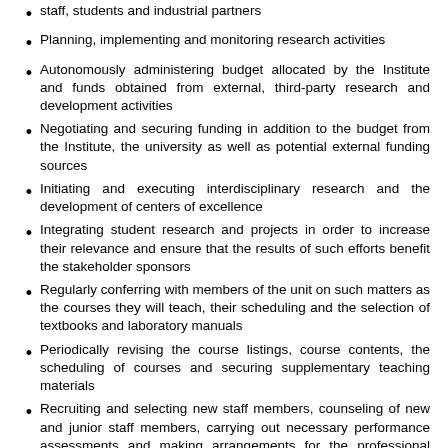staff, students and industrial partners
Planning, implementing and monitoring research activities
Autonomously administering budget allocated by the Institute and funds obtained from external, third-party research and development activities
Negotiating and securing funding in addition to the budget from the Institute, the university as well as potential external funding sources
Initiating and executing interdisciplinary research and the development of centers of excellence
Integrating student research and projects in order to increase their relevance and ensure that the results of such efforts benefit the stakeholder sponsors
Regularly conferring with members of the unit on such matters as the courses they will teach, their scheduling and the selection of textbooks and laboratory manuals
Periodically revising the course listings, course contents, the scheduling of courses and securing supplementary teaching materials
Recruiting and selecting new staff members, counseling of new and junior staff members, carrying out necessary performance assessments and making arrangements for the professional development of all staff